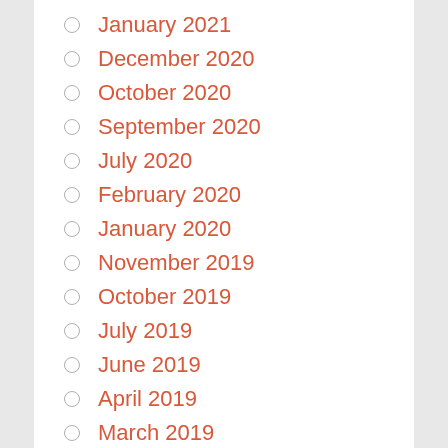January 2021
December 2020
October 2020
September 2020
July 2020
February 2020
January 2020
November 2019
October 2019
July 2019
June 2019
April 2019
March 2019
November 2018
October 2018